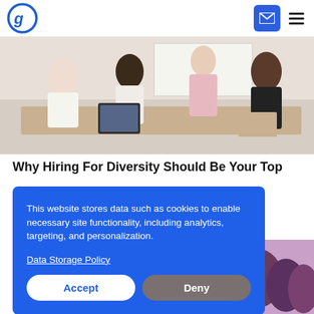Greenhouse logo, mail icon, hamburger menu
[Figure (photo): Group of diverse women in a workplace meeting or workshop setting, one standing near a whiteboard, others seated around a table with a tablet device]
Why Hiring For Diversity Should Be Your Top
This website stores data such as cookies to enable necessary site functionality, including analytics, targeting, and personalization.

Data Storage Policy

Accept  Deny
[Figure (photo): Bottom strip showing people in a purple-lit environment, partially visible]